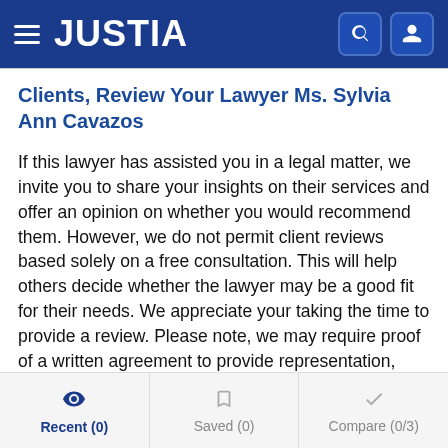JUSTIA
Clients, Review Your Lawyer Ms. Sylvia Ann Cavazos
If this lawyer has assisted you in a legal matter, we invite you to share your insights on their services and offer an opinion on whether you would recommend them. However, we do not permit client reviews based solely on a free consultation. This will help others decide whether the lawyer may be a good fit for their needs. We appreciate your taking the time to provide a review. Please note, we may require proof of a written agreement to provide representation, such as an engagement letter, a retainer agreement, a court appointment order or notice, etc.
Recent (0)   Saved (0)   Compare (0/3)